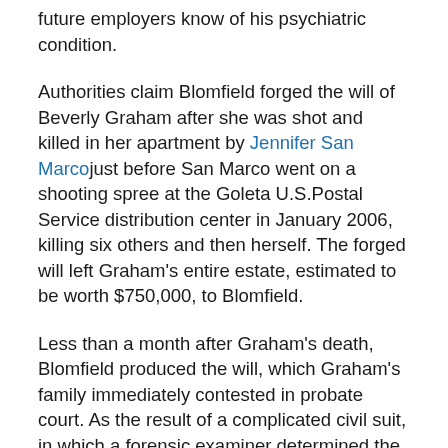future employers know of his psychiatric condition.
Authorities claim Blomfield forged the will of Beverly Graham after she was shot and killed in her apartment by Jennifer San Marco just before San Marco went on a shooting spree at the Goleta U.S.Postal Service distribution center in January 2006, killing six others and then herself. The forged will left Graham's entire estate, estimated to be worth $750,000, to Blomfield.
Less than a month after Graham's death, Blomfield produced the will, which Graham's family immediately contested in probate court. As the result of a complicated civil suit, in which a forensic examiner determined the will was forged, Blomfield was ordered to pay $340,000 in restitution to the Graham family and indicted in criminal court for burglary, financial elder abuse, forgery, conspiracy, and two counts of perjury. Blomfield pled guilty to all charges.